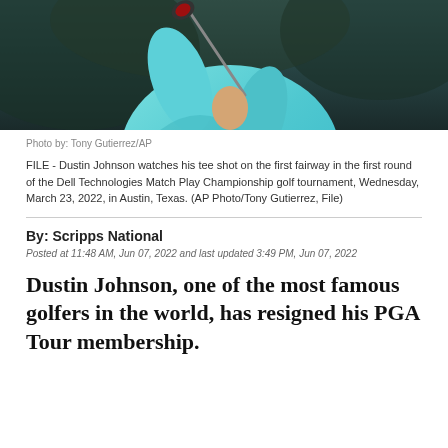[Figure (photo): Dustin Johnson swinging a golf club, wearing a light blue/teal shirt, photographed from the torso up with a dark blurred background]
Photo by: Tony Gutierrez/AP
FILE - Dustin Johnson watches his tee shot on the first fairway in the first round of the Dell Technologies Match Play Championship golf tournament, Wednesday, March 23, 2022, in Austin, Texas. (AP Photo/Tony Gutierrez, File)
By: Scripps National
Posted at 11:48 AM, Jun 07, 2022 and last updated 3:49 PM, Jun 07, 2022
Dustin Johnson, one of the most famous golfers in the world, has resigned his PGA Tour membership.